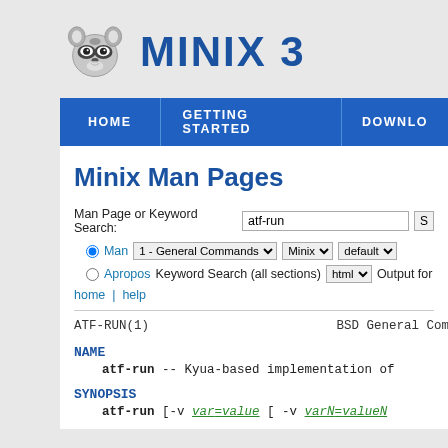[Figure (logo): MINIX 3 logo with raccoon mascot and blue bold text 'MINIX 3']
HOME | GETTING STARTED | DOWNLO...
Minix Man Pages
Man Page or Keyword Search: [atf-run] [S]
• Man  1 - General Commands ▼  Minix ▼  default ▼
○ Apropos Keyword Search (all sections) [html ▼] Output for
home | help
ATF-RUN(1)                       BSD General Command
NAME
atf-run -- Kyua-based implementation of
SYNOPSIS
atf-run [-v var=value [ -v varN=valueN